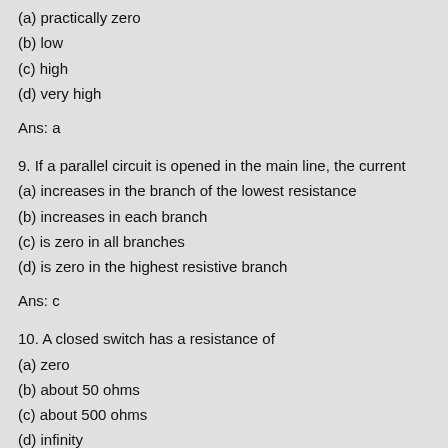(a) practically zero
(b) low
(c) high
(d) very high
Ans: a
9. If a parallel circuit is opened in the main line, the current
(a) increases in the branch of the lowest resistance
(b) increases in each branch
(c) is zero in all branches
(d) is zero in the highest resistive branch
Ans: c
10. A closed switch has a resistance of
(a) zero
(b) about 50 ohms
(c) about 500 ohms
(d) infinity